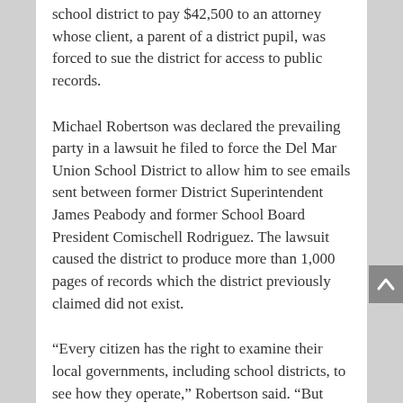school district to pay $42,500 to an attorney whose client, a parent of a district pupil, was forced to sue the district for access to public records.
Michael Robertson was declared the prevailing party in a lawsuit he filed to force the Del Mar Union School District to allow him to see emails sent between former District Superintendent James Peabody and former School Board President Comischell Rodriguez. The lawsuit caused the district to produce more than 1,000 pages of records which the district previously claimed did not exist.
“Every citizen has the right to examine their local governments, including school districts, to see how they operate,” Robertson said. “But some public agencies don’t seem to understand that. They use public money to pay attorneys to help them hide their activities from the people they are supposed to serve. That is exactly what this school district did. They spent public money on attorneys to hide how they are spending our money,” Robertson said.